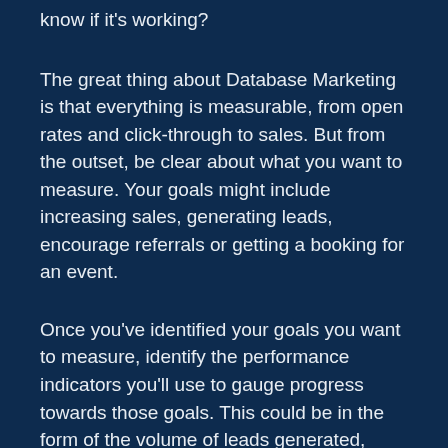know if it's working?
The great thing about Database Marketing is that everything is measurable, from open rates and click-through to sales. But from the outset, be clear about what you want to measure. Your goals might include increasing sales, generating leads, encourage referrals or getting a booking for an event.
Once you've identified your goals you want to measure, identify the performance indicators you'll use to gauge progress towards those goals. This could be in the form of the volume of leads generated, conversion rates, average sale value, and the number of new purchases, revenue, and net profit.
Finally, the most important thing to remember is to put your findings to work – refine and develop future Database marketing campaigns based on your results. Each campaign you run gives you better and more accurate statistics about you. Record all feedback, track, and